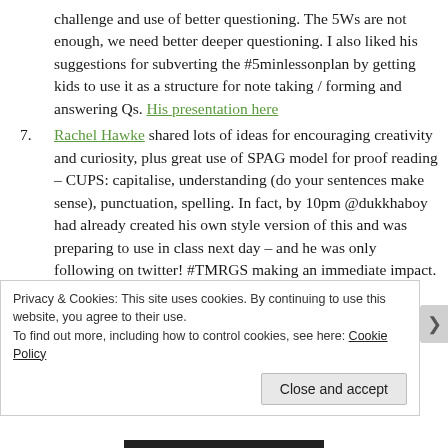challenge and use of better questioning. The 5Ws are not enough, we need better deeper questioning. I also liked his suggestions for subverting the #5minlessonplan by getting kids to use it as a structure for note taking / forming and answering Qs. His presentation here
7. Rachel Hawke shared lots of ideas for encouraging creativity and curiosity, plus great use of SPAG model for proof reading – CUPS: capitalise, understanding (do your sentences make sense), punctuation, spelling. In fact, by 10pm @dukkhaboy had already created his own style version of this and was preparing to use in class next day – and he was only following on twitter! #TMRGS making an immediate impact. Slideshare link
Privacy & Cookies: This site uses cookies. By continuing to use this website, you agree to their use. To find out more, including how to control cookies, see here: Cookie Policy
Close and accept